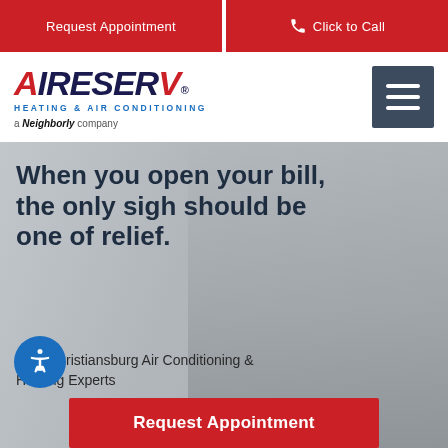Request Appointment | Click to Call
[Figure (logo): Aire Serv Heating & Air Conditioning – a Neighborly company logo]
When you open your bill, the only sigh should be one of relief.
Your Christiansburg Air Conditioning & Heating Experts
Request Appointment